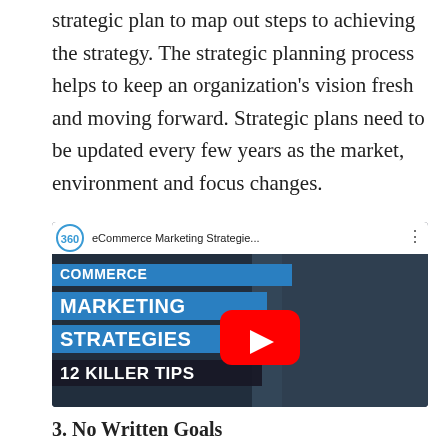strategic plan to map out steps to achieving the strategy. The strategic planning process helps to keep an organization's vision fresh and moving forward. Strategic plans need to be updated every few years as the market, environment and focus changes.
[Figure (screenshot): YouTube video thumbnail showing 'eCommerce Marketing Strategie...' with text overlays: 'COMMERCE MARKETING STRATEGIES' and '12 KILLER TIPS', featuring a YouTube play button and a person in a dark shirt.]
3. No Written Goals